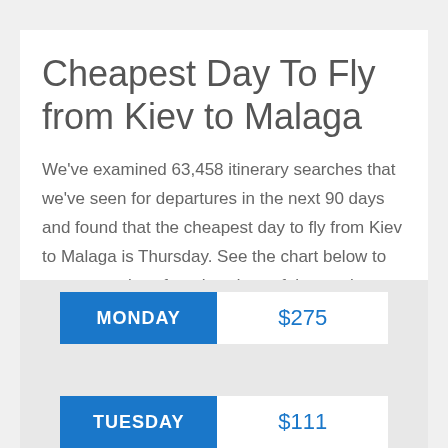Cheapest Day To Fly from Kiev to Malaga
We've examined 63,458 itinerary searches that we've seen for departures in the next 90 days and found that the cheapest day to fly from Kiev to Malaga is Thursday. See the chart below to compare prices for other days of the week.
| Day | Price |
| --- | --- |
| MONDAY | $275 |
| TUESDAY | $111 |